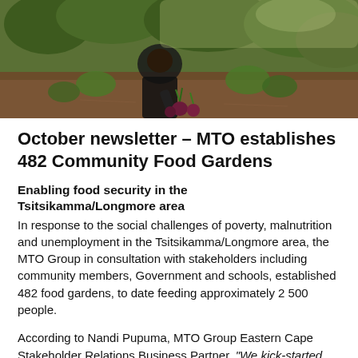[Figure (photo): Photograph of a person harvesting beetroot or similar root vegetables in a community food garden, with green leafy plants visible in the background.]
October newsletter – MTO establishes 482 Community Food Gardens
Enabling food security in the Tsitsikamma/Longmore area
In response to the social challenges of poverty, malnutrition and unemployment in the Tsitsikamma/Longmore area, the MTO Group in consultation with stakeholders including community members, Government and schools, established 482 food gardens, to date feeding approximately 2 500 people.
According to Nandi Pupuma, MTO Group Eastern Cape Stakeholder Relations Business Partner, “We kick-started this initiative in March 2019 to enable a long-term solution to the food security threat in the Tsitsikamma area. The